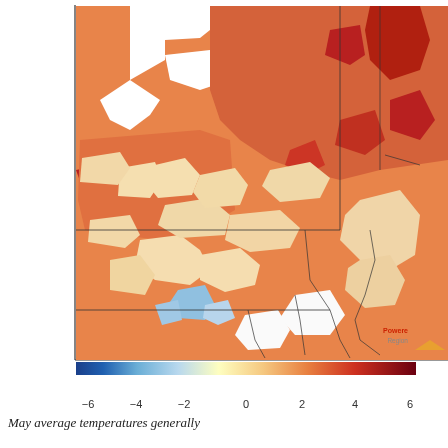[Figure (map): Choropleth map of the northeastern United States showing May average temperature anomalies by county/region. Colors range from dark blue (cooling, -6°F or below) through light yellow (near normal, 0) to dark red (warming, +6°F or above). Most of the region shows orange to light orange warming anomalies of +1 to +4°F, with some dark red patches in northern New England and parts of New York, and scattered light blue/cream areas indicating near-normal or slightly below-normal temperatures in parts of Pennsylvania, Maryland, and the mid-Atlantic coast.]
May average temperatures generally